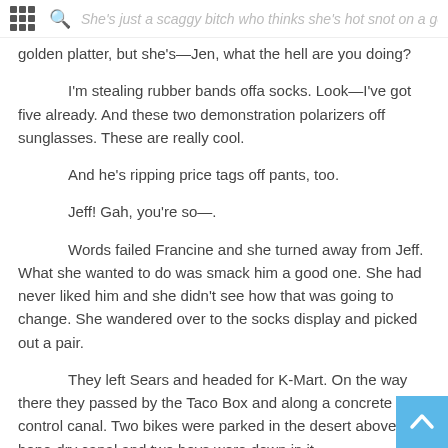She's just a scaggy bitch who thinks she's hot snot on a golden platter, but she's—Jen, what the hell are you doing?
I'm stealing rubber bands offa socks. Look—I've got five already. And these two demonstration polarizers off sunglasses. These are really cool.
And he's ripping price tags off pants, too.
Jeff! Gah, you're so—.
Words failed Francine and she turned away from Jeff. What she wanted to do was smack him a good one. She had never liked him and she didn't see how that was going to change. She wandered over to the socks display and picked out a pair.
They left Sears and headed for K-Mart. On the way there they passed by the Taco Box and along a concrete flood control canal. Two bikes were parked in the desert above the bone-dry canal and two boys were down in it.